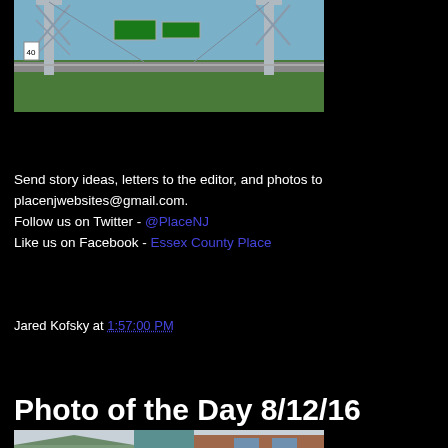[Figure (photo): Photograph of a large steel lift bridge structure with green highway signs, blue sky, and green trees below.]
Send story ideas, letters to the editor, and photos to placenjwebsites@gmail.com.
Follow us on Twitter - @PlaceNJ
Like us on Facebook - Essex County Place
Jared Kofsky at 1:57:00 PM
Share
Photo of the Day 8/12/16
[Figure (photo): Partial photograph of an outdoor scene with tents or awnings and a brick building visible.]